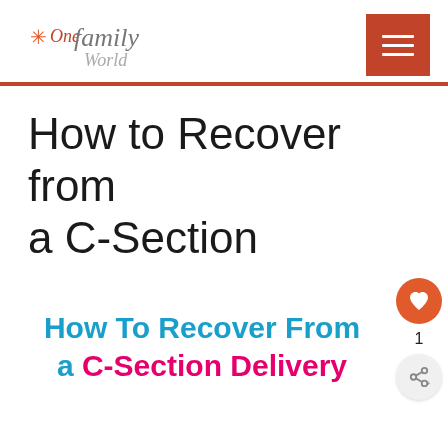One Family World — logo and navigation menu
How to Recover from a C-Section
[Figure (illustration): Decorative text image reading 'How To Recover From a C-Section Delivery' in blue and pink bold fonts, representing a blog post thumbnail/featured image]
1